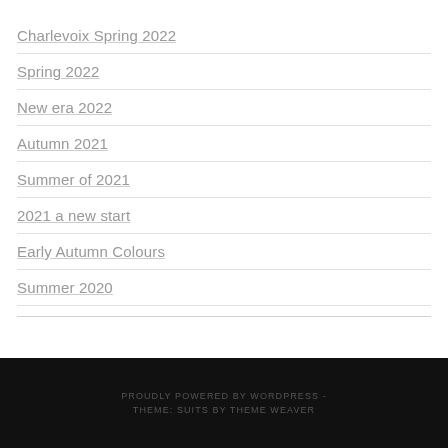Charlevoix Spring 2022
Spring 2022
New era 2022
Autumn 2021
Summer of 2021
2021 a new start
Early Autumn Colours
Summer 2020
PROUDLY POWERED BY WORDPRESS - THEME: SUITS BY THEME WEAVER